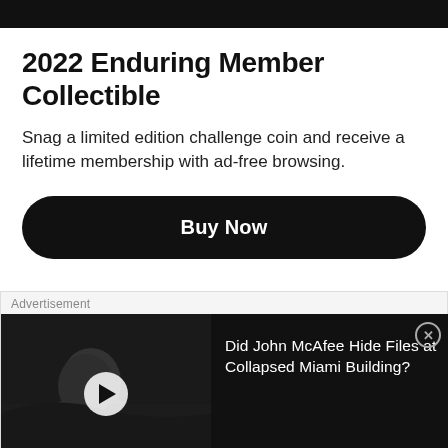2022 Enduring Member Collectible
Snag a limited edition challenge coin and receive a lifetime membership with ad-free browsing.
Buy Now
Advertisement
[Figure (screenshot): Video thumbnail showing a man seated, with a play button overlay]
Did John McAfee Hide Files at Collapsed Miami Building?
Background Check:  Investigating George Floyd's Criminal Record